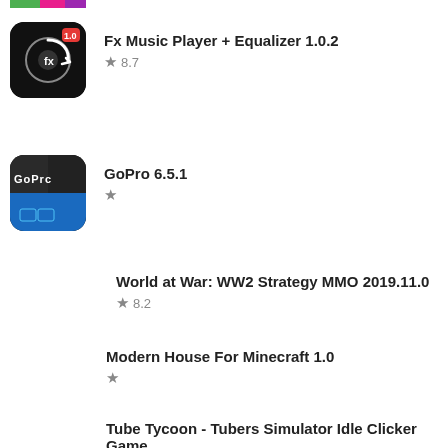[Figure (illustration): Partial app icon visible at top, colorful green/pink colors]
Fx Music Player + Equalizer 1.0.2
★ 8.7
GoPro 6.5.1
★
World at War: WW2 Strategy MMO 2019.11.0
★ 8.2
Modern House For Minecraft 1.0
★
Tube Tycoon - Tubers Simulator Idle Clicker Game